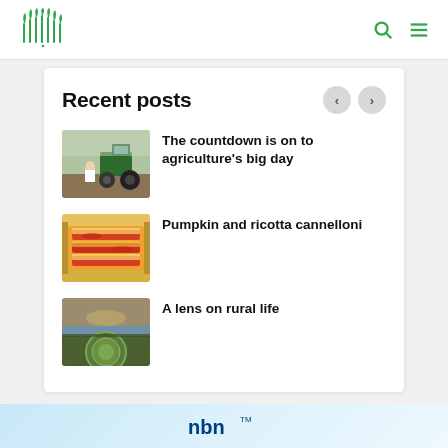ABC Rural logo, search icon, menu icon
Recent posts
[Figure (photo): Child standing in front of a tractor in a farm field]
The countdown is on to agriculture's big day
[Figure (photo): Baking dish of pumpkin and ricotta cannelloni with cheese topping]
Pumpkin and ricotta cannelloni
[Figure (photo): Rural landscape aerial view with circular irrigation field]
A lens on rural life
[Figure (logo): nbn logo and branding strip at the bottom]